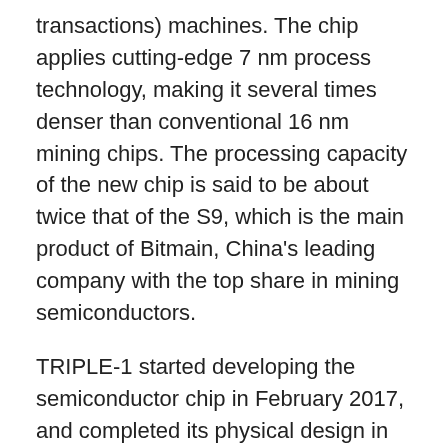transactions) machines. The chip applies cutting-edge 7 nm process technology, making it several times denser than conventional 16 nm mining chips. The processing capacity of the new chip is said to be about twice that of the S9, which is the main product of Bitmain, China's leading company with the top share in mining semiconductors.
TRIPLE-1 started developing the semiconductor chip in February 2017, and completed its physical design in February 2018. On September 11, the company released the results of a performance evaluation of KAMIKAZE, announcing a significant reduction (over 50%) in power consumption, while maintaining the same hashrate as mainstream mining machines. Based on the results, the company seems to be anticipating deliveries from the first-stage mass production of mining machines by the end of November this year.
In January 2019, the company plans to...